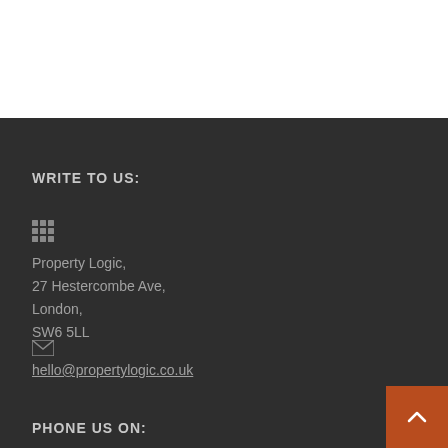WRITE TO US:
[Figure (illustration): Building/office icon (grid of squares)]
Property Logic,
27 Hestercombe Ave,
London,
SW6 5LL
[Figure (illustration): Email envelope icon]
hello@propertylogic.co.uk
PHONE US ON: